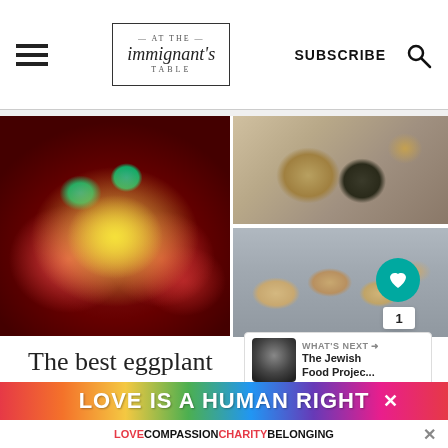AT THE IMMIGRANT'S TABLE | SUBSCRIBE
[Figure (photo): Eggplant shakshuka in a cast iron pan with eggs, tomato sauce, and fresh basil leaves, top-down view]
[Figure (photo): Top-down view of spices in small bowls on burlap cloth with lemon]
[Figure (photo): Top-down view of Argentine empanadas on a baking tray]
The best eggplant shakshuka, or
Authentic Argentinian
WHAT'S NEXT → The Jewish Food Projec...
LOVE IS A HUMAN RIGHT
LOVE COMPASSION CHARITY BELONGING